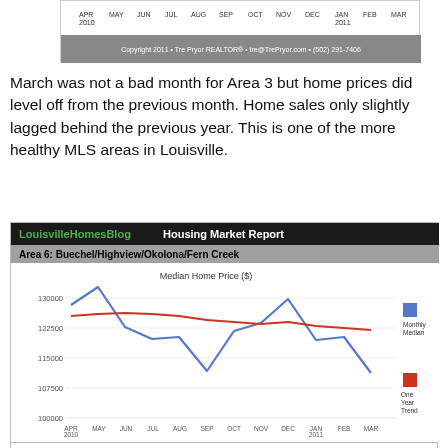[Figure (line-chart): Top partial chart strip showing x-axis months APR 2010 through MAR 2011 and copyright footer]
March was not a bad month for Area 3 but home prices did level off from the previous month. Home sales only slightly lagged behind the previous year. This is one of the more healthy MLS areas in Louisville.
[Figure (line-chart): Median Home Price ($)]
[Figure (bar-chart): Partial chart visible at bottom showing title and y-axis starting at 170]